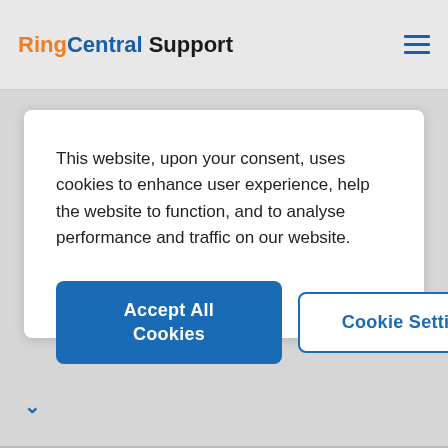RingCentral Support
This website, upon your consent, uses cookies to enhance user experience, help the website to function, and to analyse performance and traffic on our website.
Accept All Cookies
Cookie Settings